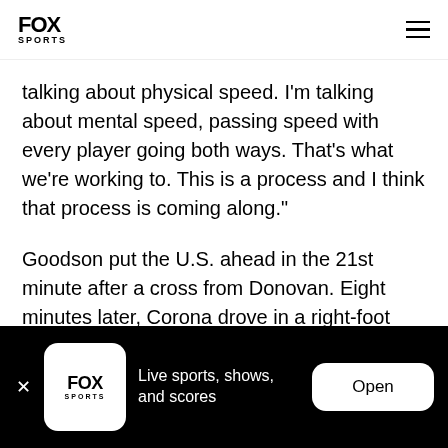FOX SPORTS
talking about physical speed. I'm talking about mental speed, passing speed with every player going both ways. That's what we're working to. This is a process and I think that process is coming along."
Goodson put the U.S. ahead in the 21st minute after a cross from Donovan. Eight minutes later, Corona drove in a right-foot shot from the edge of the area to make it 2-0.
Live sports, shows, and scores  Open